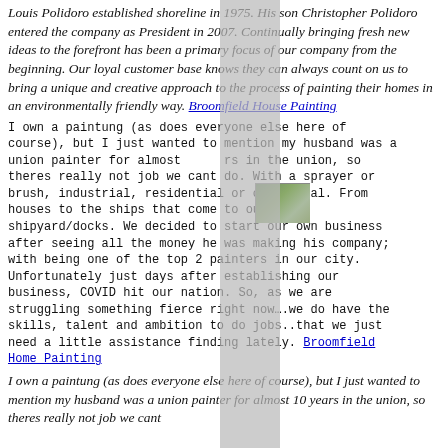Louis Polidoro established shoreline in 1975. His son Christopher Polidoro entered the company as President in 2007. Continually bringing fresh new ideas to the forefront has been a primary focus of our company from the beginning. Our loyal customer base knows they can always count on us to bring a unique and creative approach to the process of painting their homes in an environmentally friendly way. Broomfield House Painting
I own a paintung (as does everyone else here of course), but I just wanted to mention my husband was a union painter for almost [years] in the union, so theres really not job we cant do. With a sprayer or brush, industrial, residential or commercial. From houses to the ships that come to our local shipyard/docks. We decided to start our own business after seeing all the money he was making his company; with being one of the top 2 painters in our city. Unfortunately just days after establishing our business, COVID hit our nation. So, as we are struggling something fierce right now….we do have the skills, talent and ambition to do jobs..that we just need a little assistance finding lately. Broomfield Home Painting
I own a paintung (as does everyone else here of course), but I just wanted to mention my husband was a union painter for almost 10 years in the union, so theres really not job we cant